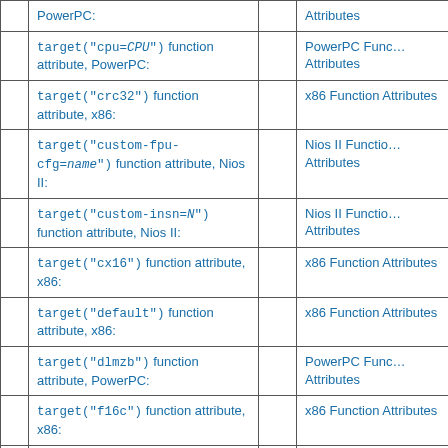|  | Entry |  |  | Link |
| --- | --- | --- | --- | --- |
|  | PowerPC: |  |  | Attributes |
|  | target("cpu=CPU") function attribute, PowerPC: |  |  | PowerPC Function Attributes |
|  | target("crc32") function attribute, x86: |  |  | x86 Function Attributes |
|  | target("custom-fpu-cfg=name") function attribute, Nios II: |  |  | Nios II Function Attributes |
|  | target("custom-insn=N") function attribute, Nios II: |  |  | Nios II Function Attributes |
|  | target("cx16") function attribute, x86: |  |  | x86 Function Attributes |
|  | target("default") function attribute, x86: |  |  | x86 Function Attributes |
|  | target("dlmzb") function attribute, PowerPC: |  |  | PowerPC Function Attributes |
|  | target("f16c") function attribute, x86: |  |  | x86 Function Attributes |
|  | target("fancy-math-387") function |  |  | x86 Function |